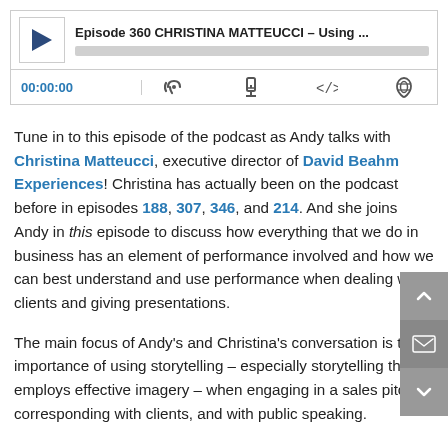[Figure (screenshot): Podcast player widget showing Episode 360 CHRISTINA MATTEUCCI – Using ... with play button, progress bar, timestamp 00:00:00 and control icons]
Tune in to this episode of the podcast as Andy talks with Christina Matteucci, executive director of David Beahm Experiences! Christina has actually been on the podcast before in episodes 188, 307, 346, and 214. And she joins Andy in this episode to discuss how everything that we do in business has an element of performance involved and how we can best understand and use performance when dealing with clients and giving presentations.
The main focus of Andy's and Christina's conversation is the importance of using storytelling – especially storytelling that employs effective imagery – when engaging in a sales pitch, corresponding with clients, and with public speaking.